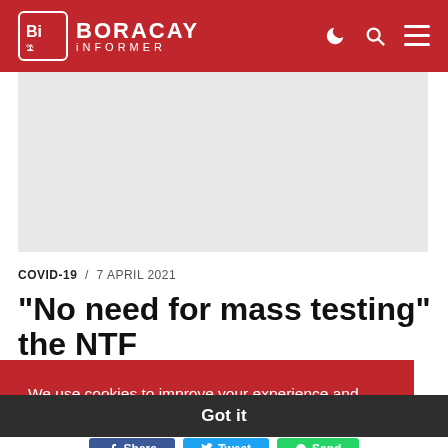Boracay Informer
[Figure (other): Advertisement / image placeholder area, light gray background]
COVID-19 / 7 APRIL 2021
"No need for mass testing" the NTF
We use cookies to improve your experience and track website usage Cookies Policy
Got it